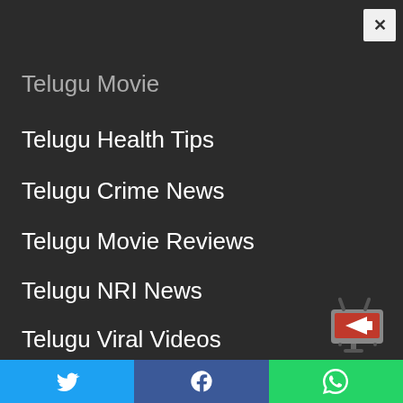Telugu Movie
Telugu Health Tips
Telugu Crime News
Telugu Movie Reviews
Telugu NRI News
Telugu Viral Videos
Telugu Bhakthi/Devotional